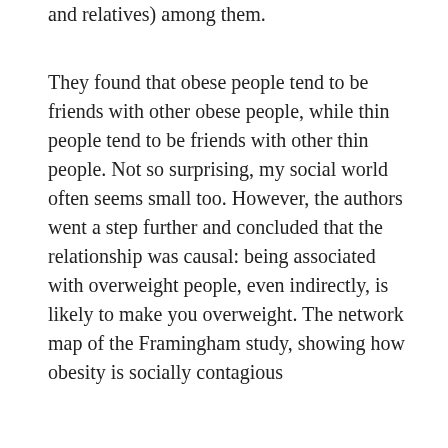and relatives) among them.
They found that obese people tend to be friends with other obese people, while thin people tend to be friends with other thin people. Not so surprising, my social world often seems small too. However, the authors went a step further and concluded that the relationship was causal: being associated with overweight people, even indirectly, is likely to make you overweight. The network map of the Framingham study, showing how obesity is socially contagious